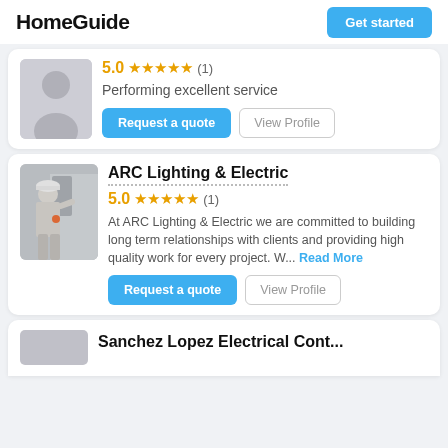HomeGuide | Get started
5.0 ★★★★★ (1)
Performing excellent service
Request a quote | View Profile
ARC Lighting & Electric
5.0 ★★★★★ (1)
At ARC Lighting & Electric we are committed to building long term relationships with clients and providing high quality work for every project. W... Read More
Request a quote | View Profile
Sanchez Lopez Electrical Contractors